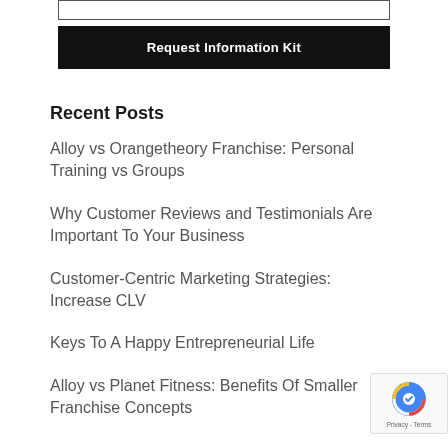[Figure (other): Input box (form field, empty)]
Request Information Kit
Recent Posts
Alloy vs Orangetheory Franchise: Personal Training vs Groups
Why Customer Reviews and Testimonials Are Important To Your Business
Customer-Centric Marketing Strategies: Increase CLV
Keys To A Happy Entrepreneurial Life
Alloy vs Planet Fitness: Benefits Of Smaller Franchise Concepts